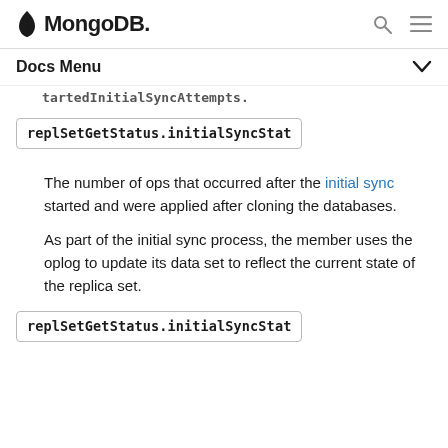MongoDB
Docs Menu
tartedInitialSyncAttempts.
replSetGetStatus.initialSyncStat
The number of ops that occurred after the initial sync started and were applied after cloning the databases.
As part of the initial sync process, the member uses the oplog to update its data set to reflect the current state of the replica set.
replSetGetStatus.initialSyncStat